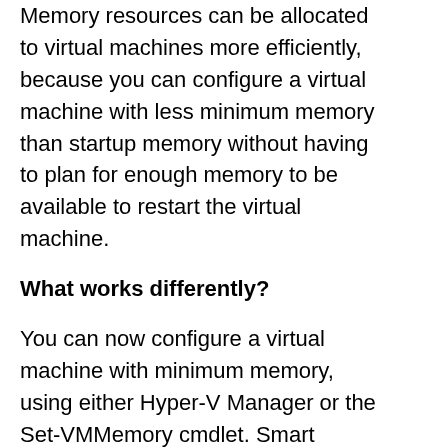Memory resources can be allocated to virtual machines more efficiently, because you can configure a virtual machine with less minimum memory than startup memory without having to plan for enough memory to be available to restart the virtual machine.
What works differently?
You can now configure a virtual machine with minimum memory, using either Hyper-V Manager or the Set-VMMemory cmdlet. Smart Paging reduces the risk that a virtual machine might not be able to restart if a restart is required when there is not enough available physical memory. Smart Paging uses disk resources as additional, temporary memory when more memory is required to restart a virtual machine than the amount of memory currently allocated to a virtual machine. To minimize the potential performance impact of Smart Paging, Hyper-V uses it only when all of the following occurs: